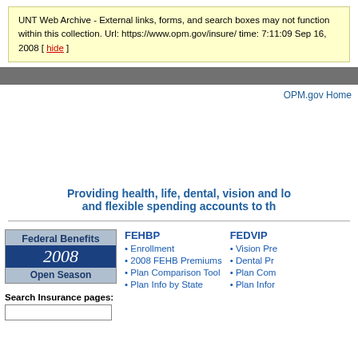UNT Web Archive - External links, forms, and search boxes may not function within this collection. Url: https://www.opm.gov/insure/ time: 7:11:09 Sep 16, 2008 [ hide ]
OPM.gov Home
Providing health, life, dental, vision and long-term care insurance and flexible spending accounts to th...
[Figure (logo): Federal Benefits 2008 Open Season logo with blue banner]
Search Insurance pages:
FEHBP
Enrollment
2008 FEHB Premiums
Plan Comparison Tool
Plan Info by State
FEDVIP
Vision Pre...
Dental Pr...
Plan Com...
Plan Infor...